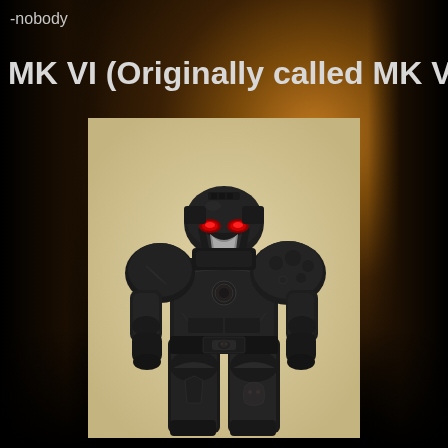-nobody
MK VI (Originally called MK V)
[Figure (illustration): A dark black power armor (Space Marine MK VI armor) figure standing in a frontal pose against a parchment/beige background. The armor is entirely black with a distinctive beaked helmet, large pauldrons, and ornate details including a chest medallion and markings on the legs.]